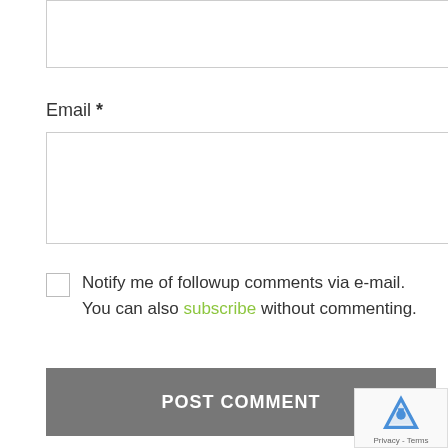[Figure (other): Empty text input box (top of page, partially visible)]
Email *
[Figure (other): Email input text field, empty, with border]
Notify me of followup comments via e-mail. You can also subscribe without commenting.
[Figure (other): POST COMMENT submit button, dark grey background]
[Figure (photo): Photo of a smiling man with medium-length brown hair wearing a dark shirt]
Hi! I share my vegan and plant-based recipes here along with thoughts on running, training, exercise as well as some posts
[Figure (other): reCAPTCHA badge with logo and Privacy - Terms text]